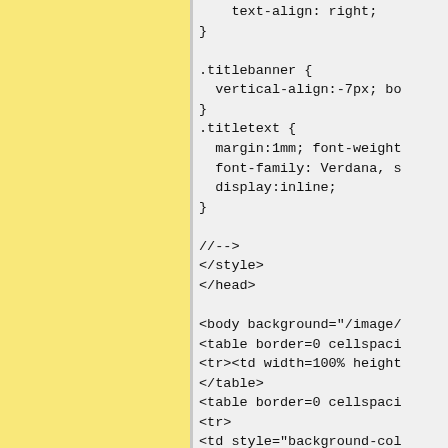[Figure (other): Yellow/cream colored left panel background]
text-align: right;
}

.titlebanner {
  vertical-align:-7px; bo
}
.titletext {
  margin:1mm; font-weight
  font-family: Verdana, s
  display:inline;
}

//-->
</style>
</head>

<body background="/image/
<table border=0 cellspaci
<tr><td width=100% height
</table>
<table border=0 cellspaci
<tr>
<td style="background-col
<td class="navbar" valign
</table>
<table cellpadding="0" ce
<td width="195" valign="t
  {Insert:page.SideBar}
</td>
<td valign="top" style="m
  <font size=5><b>{PageTi